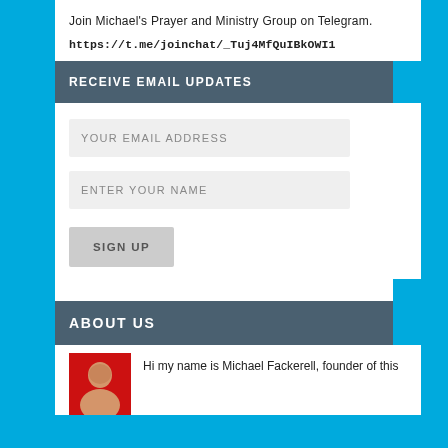Join Michael's Prayer and Ministry Group on Telegram.
https://t.me/joinchat/_Tuj4MfQuIBkOWI1
RECEIVE EMAIL UPDATES
YOUR EMAIL ADDRESS
ENTER YOUR NAME
SIGN UP
ABOUT US
Hi my name is Michael Fackerell, founder of this